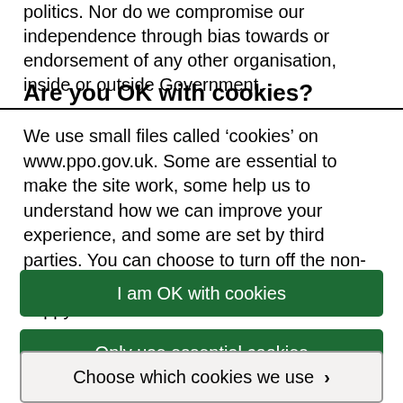politics. Nor do we compromise our independence through bias towards or endorsement of any other organisation, inside or outside Government.
Are you OK with cookies?
We use small files called ‘cookies’ on www.ppo.gov.uk. Some are essential to make the site work, some help us to understand how we can improve your experience, and some are set by third parties. You can choose to turn off the non-essential cookies. Which cookies are you happy for us to use?
I am OK with cookies
Only use essential cookies
Choose which cookies we use ›